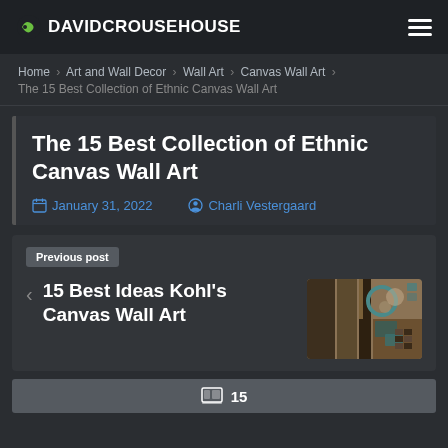DAVIDCROUSEHOUSE
Home › Art and Wall Decor › Wall Art › Canvas Wall Art › The 15 Best Collection of Ethnic Canvas Wall Art
The 15 Best Collection of Ethnic Canvas Wall Art
January 31, 2022   Charli Vestergaard
Previous post
‹ 15 Best Ideas Kohl's Canvas Wall Art
[Figure (photo): Thumbnail image of Kohl's canvas wall art showing abstract geometric painting in teal and brown tones]
15